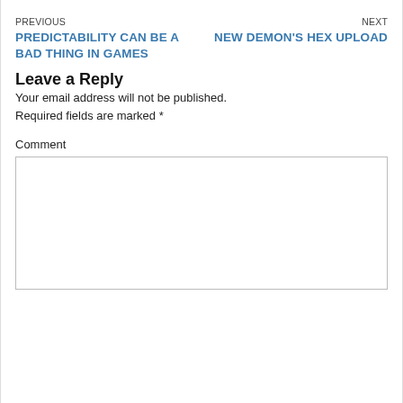PREVIOUS
PREDICTABILITY CAN BE A BAD THING IN GAMES
NEXT
NEW DEMON'S HEX UPLOAD
Leave a Reply
Your email address will not be published. Required fields are marked *
Comment